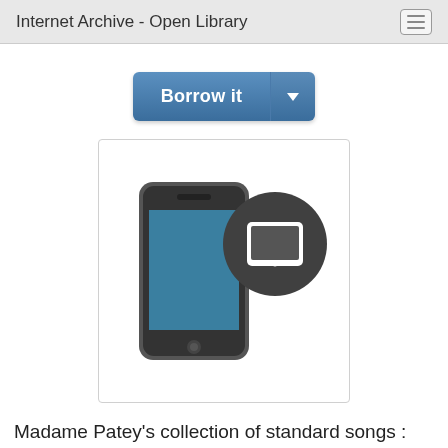Internet Archive - Open Library
Borrow it
[Figure (illustration): Smartphone and tablet device icons representing mobile reading apps]
Madame Patey's collection of standard songs : with the symphonies and accompaniments as used by her ; Book 2, Janet Patey